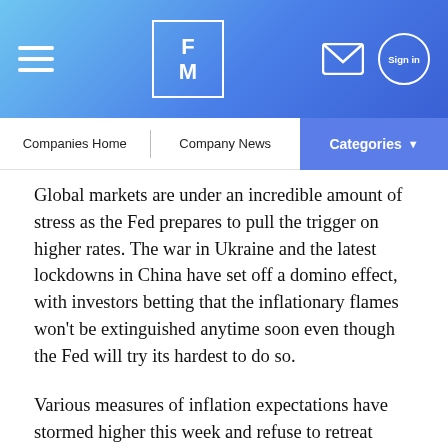FM
Global markets are under an incredible amount of stress as the Fed prepares to pull the trigger on higher rates. The war in Ukraine and the latest lockdowns in China have set off a domino effect, with investors betting that the inflationary flames won't be extinguished anytime soon even though the Fed will try its hardest to do so.
Various measures of inflation expectations have stormed higher this week and refuse to retreat despite the dramatic reversal in energy prices. Therefore, traders are betting the Fed will be forced to raise rates faster to combat spiraling prices, which is pushing US Treasury yields higher.
Beyond inflation concerns, there's also a growing risk of a credit episode. With central banks closing the liquidity gates